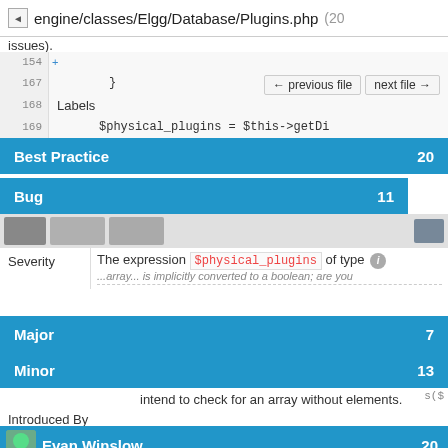engine/classes/Elgg/Database/Plugins.php (20 issues).
154
167    }
168
Labels
169    $physical_plugins = $this->getDi
Best Practice    20
Bug    11
Severity  The expression $physical_plugins of type
...array... is implicitly converted to a boolean; are you
Major    7
Minor    13
intend to check for an array without elements.
Introduced By
Evan Winslow    20
173  return false;
204
Steve Clay
6